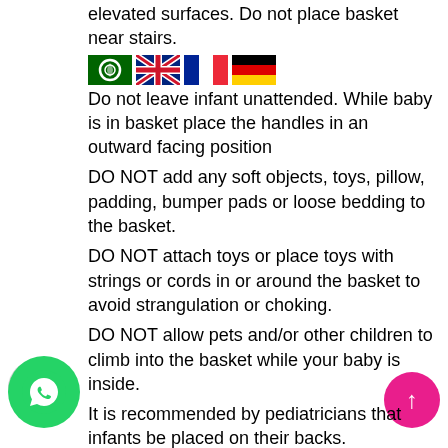elevated surfaces. Do not place basket near stairs.
[Figure (illustration): Row of country flag icons: Arabic/green circle, UK/Union Jack, France/tricolor, Germany/tricolor]
Do not leave infant unattended. While baby is in basket place the handles in an outward facing position
DO NOT add any soft objects, toys, pillow, padding, bumper pads or loose bedding to the basket.
DO NOT attach toys or place toys with strings or cords in or around the basket to avoid strangulation or choking.
DO NOT allow pets and/or other children to climb into the basket while your baby is inside.
It is recommended by pediatricians that infants be placed on their backs.
< PACKAGING AND SHIPPING>
Moody Babys cares about the packaging of your basket set to ensure international delivery in good condition. Allow us 4-6 weeks to manufacture and deliver your custom basket to you.
exact delivery term depends on the destination country. Please, consult us before placing an order if